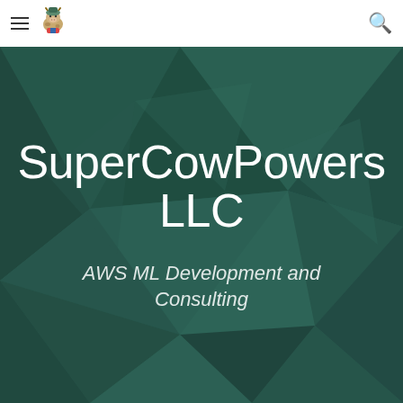SuperCowPowers LLC navigation bar with hamburger menu, logo, and search icon
[Figure (illustration): SuperCowPowers LLC logo — illustrated cow character with colorful costume on white navigation bar]
[Figure (illustration): Dark teal hero banner with geometric triangular polygon shapes in varying shades of teal/dark green forming a faceted background pattern]
SuperCowPowers LLC
AWS ML Development and Consulting